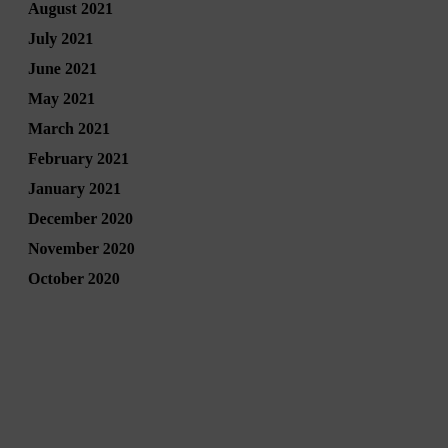August 2021
July 2021
June 2021
May 2021
March 2021
February 2021
January 2021
December 2020
November 2020
October 2020